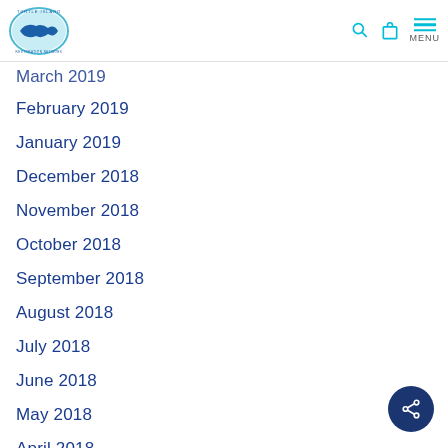Turtle Island Restoration Network — MENU
March 2019
February 2019
January 2019
December 2018
November 2018
October 2018
September 2018
August 2018
July 2018
June 2018
May 2018
April 2018